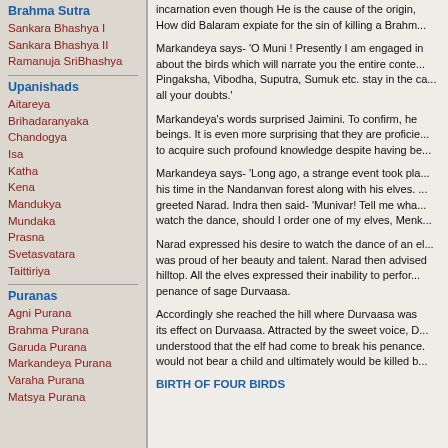Brahma Sutra
Sankara Bhashya I
Sankara Bhashya II
Ramanuja SriBhashya
Upanishads
Aitareya
Brihadaranyaka
Chandogya
Isa
Katha
Kena
Mandukya
Mundaka
Prasna
Svetasvatara
Taittiriya
Puranas
Agni Purana
Brahma Purana
Garuda Purana
Markandeya Purana
Varaha Purana
Matsya Purana
incarnation even though He is the cause of the origin, How did Balaram expiate for the sin of killing a Brahm...
Markandeya says- 'O Muni ! Presently I am engaged in about the birds which will narrate you the entire conte... Pingaksha, Vibodha, Suputra, Sumuk etc. stay in the ca... all your doubts.'
Markandeya's words surprised Jaimini. To confirm, he beings. It is even more surprising that they are proficie... to acquire such profound knowledge despite having be...
Markandeya says- 'Long ago, a strange event took pla... his time in the Nandanvan forest along with his elves. ... greeted Narad. Indra then said- 'Munivar! Tell me wha... watch the dance, should I order one of my elves, Menk...
Narad expressed his desire to watch the dance of an el... was proud of her beauty and talent. Narad then advised hilltop. All the elves expressed their inability to perfor... penance of sage Durvaasa.
Accordingly she reached the hill where Durvaasa was its effect on Durvaasa. Attracted by the sweet voice, D... understood that the elf had come to break his penance. would not bear a child and ultimately would be killed b...
BIRTH OF FOUR BIRDS